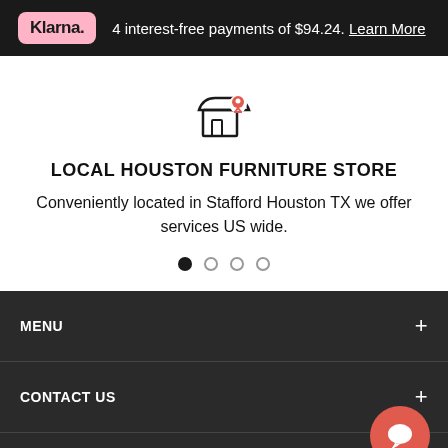[Figure (logo): Klarna payment banner with pink Klarna logo on dark background, text: 4 interest-free payments of $94.24. Learn More]
[Figure (illustration): Store front icon with a red location pin overlay]
LOCAL HOUSTON FURNITURE STORE
Conveniently located in Stafford Houston TX we offer services US wide.
[Figure (other): Carousel dots: one filled black, three outlined grey]
MENU
CONTACT US
ABOUT THE SHOP